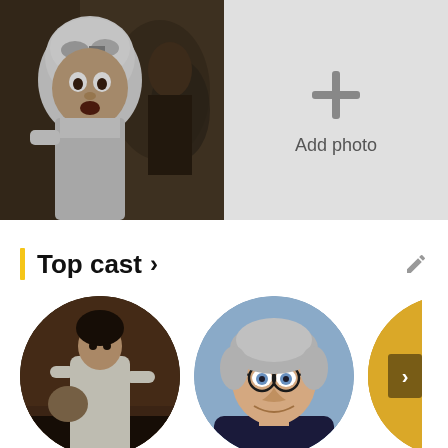[Figure (photo): Movie still showing a person in a white hood/helmet costume looking surprised, black and white tint]
[Figure (other): Add photo placeholder box with plus icon and 'Add photo' text on gray background]
Add photo
Top cast >
[Figure (photo): Circular portrait of a man in a white sweater carrying a bag, dark background]
[Figure (photo): Circular portrait of an older man with glasses and gray hair, smiling]
[Figure (photo): Partially visible circular portrait with golden/warm tones, partially cut off at right edge]